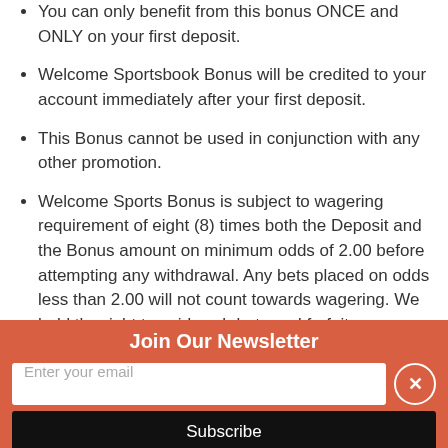You can only benefit from this bonus ONCE and ONLY on your first deposit.
Welcome Sportsbook Bonus will be credited to your account immediately after your first deposit.
This Bonus cannot be used in conjunction with any other promotion.
Welcome Sports Bonus is subject to wagering requirement of eight (8) times both the Deposit and the Bonus amount on minimum odds of 2.00 before attempting any withdrawal. Any bets placed on odds less than 2.00 will not count towards wagering. We hold the right to void such bets and forfeit any
Join Our Newsletter
Enter your email
Subscribe